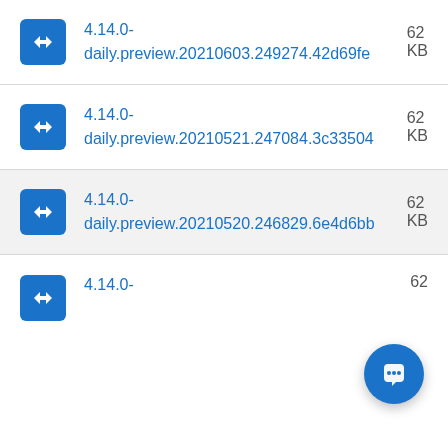4.14.0-daily.preview.20210603.249274.42d69fe  62  KB
4.14.0-daily.preview.20210521.247084.3c33504  62  KB
4.14.0-daily.preview.20210520.246829.6e4d6bb  62  KB
4.14.0-daily...  62  KB